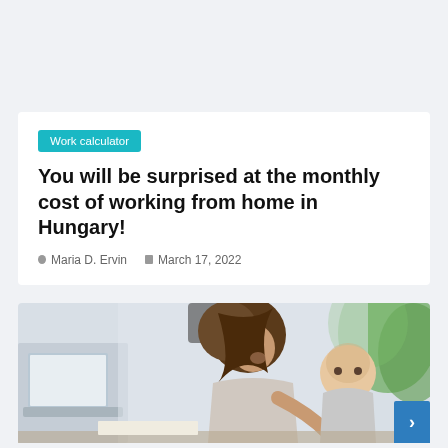Work calculator
You will be surprised at the monthly cost of working from home in Hungary!
Maria D. Ervin   March 17, 2022
[Figure (photo): A woman smiling while working on a laptop, holding a baby, with a plant visible in the background]